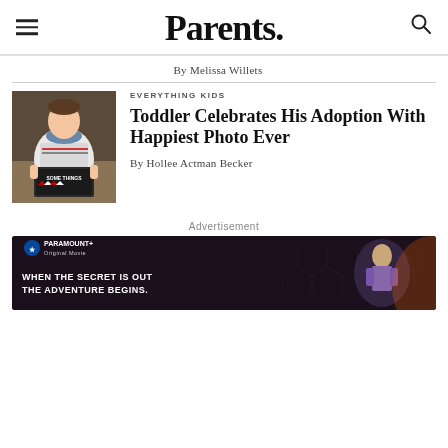Parents.
By Melissa Willets
[Figure (photo): Toddler in patterned sweater holding a chalkboard sign reading 'SOME THINGS']
EVERYTHING KIDS
Toddler Celebrates His Adoption With Happiest Photo Ever
By Hollee Actman Becker
Advertisement
[Figure (screenshot): Paramount Original Movie advertisement: 'WHEN THE SECRET IS OUT THE ADVENTURE BEGINS.' with action figure imagery on dark honeycomb background]